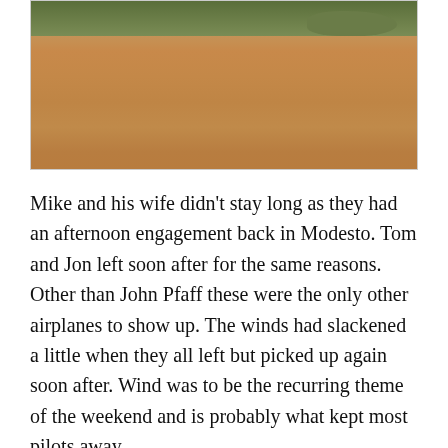[Figure (photo): Aerial or landscape photo of a dry, golden-brown field or grassland with shrubs and trees visible along the upper edge.]
Mike and his wife didn't stay long as they had an afternoon engagement back in Modesto. Tom and Jon left soon after for the same reasons. Other than John Pfaff these were the only other airplanes to show up. The winds had slackened a little when they all left but picked up again soon after. Wind was to be the recurring theme of the weekend and is probably what kept most pilots away.